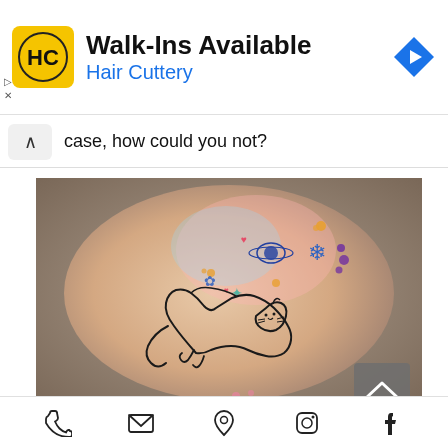[Figure (screenshot): Hair Cuttery advertisement banner with yellow HC logo, 'Walk-Ins Available' title, 'Hair Cuttery' subtitle in blue, and blue navigation diamond icon on the right.]
case, how could you not?
[Figure (photo): Close-up photo of an ankle with a tattoo of a sleeping cat drawn in fine black line art, with colorful space-themed elements above including a planet with rings, snowflake, small hearts, and flowers in blue, pink, orange and teal watercolor style.]
[Figure (screenshot): Bottom navigation icon bar with phone, email, location pin, Instagram, and Facebook icons.]